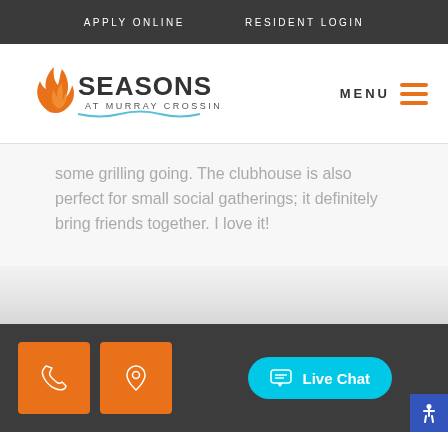APPLY ONLINE   RESIDENT LOGIN
[Figure (logo): Seasons at Murray Crossing logo with orange flame icon and teal wave underline]
some grilling going. The clubhouse is also perfect for small social gatherings; it definitely bring friends together. I love it!
Phone icon button, Location pin icon button, Live Chat button, Accessibility button